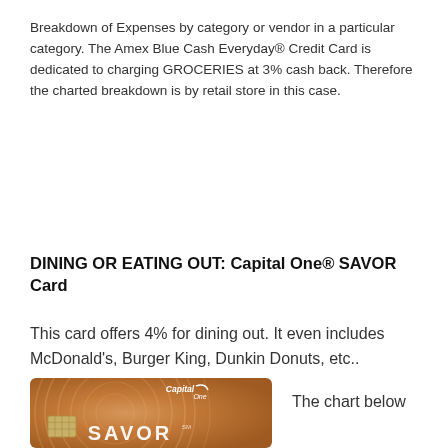Breakdown of Expenses by category or vendor in a particular category. The Amex Blue Cash Everyday® Credit Card is dedicated to charging GROCERIES at 3% cash back. Therefore the charted breakdown is by retail store in this case.
DINING OR EATING OUT: Capital One® SAVOR Card
This card offers 4% for dining out. It even includes McDonald's, Burger King, Dunkin Donuts, etc..
[Figure (photo): Capital One Savor credit card in copper/bronze color with chip and SAVOR text]
The chart below